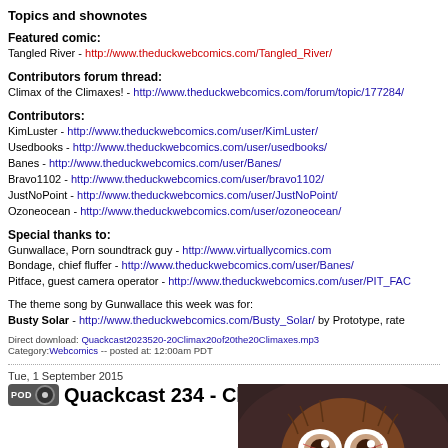Topics and shownotes
Featured comic:
Tangled River - http://www.theduckwebcomics.com/Tangled_River/
Contributors forum thread:
Climax of the Climaxes! - http://www.theduckwebcomics.com/forum/topic/177284/
Contributors:
KimLuster - http://www.theduckwebcomics.com/user/KimLuster/
Usedbooks - http://www.theduckwebcomics.com/user/usedbooks/
Banes - http://www.theduckwebcomics.com/user/Banes/
Bravo1102 - http://www.theduckwebcomics.com/user/bravo1102/
JustNoPoint - http://www.theduckwebcomics.com/user/JustNoPoint/
Ozoneocean - http://www.theduckwebcomics.com/user/ozoneocean/
Special thanks to:
Gunwallace, Porn soundtrack guy - http://www.virtuallycomics.com
Bondage, chief fluffer - http://www.theduckwebcomics.com/user/Banes/
Pitface, guest camera operator - http://www.theduckwebcomics.com/user/PIT_FAC
The theme song by Gunwallace this week was for:
Busty Solar - http://www.theduckwebcomics.com/Busty_Solar/ by Prototype, rate
Direct download: Quackcast2023520-20Climax20of20the20Climaxes.mp3
Category:Webcomics -- posted at: 12:00am PDT
Tue, 1 September 2015
Quackcast 234 - Climactic Climaxes!
[Figure (photo): Thumbnail image of a cartoon creature with large eyes, brown fur, against a blurred background]